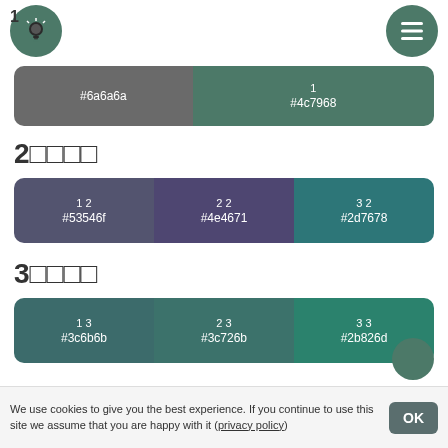1
[Figure (infographic): Color palette row 1: swatch #6a6a6a (gray) and swatch #4c7968 (teal), labeled '1']
2□□□□
[Figure (infographic): Color palette row 2: swatches '1 2 #53546f', '2 2 #4e4671', '3 2 #2d7678']
3□□□□
[Figure (infographic): Color palette row 3: swatches '1 3 #3c6b6b', '2 3 #3c726b', '3 3 #2b826d']
We use cookies to give you the best experience. If you continue to use this site we assume that you are happy with it (privacy policy)